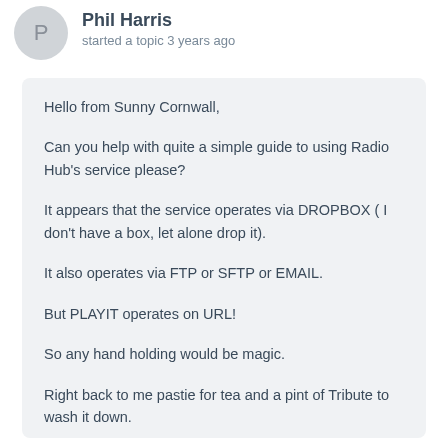Phil Harris started a topic 3 years ago
Hello from Sunny Cornwall,

Can you help with quite a simple guide to using Radio Hub's service please?

It appears that the service operates via DROPBOX ( I don't have a box, let alone drop it).

It also operates via FTP or SFTP or EMAIL.

But PLAYIT operates on URL!

So any hand holding would be magic.

Right back to me pastie for tea and a pint of Tribute to wash it down.

Many thanks.  Phil